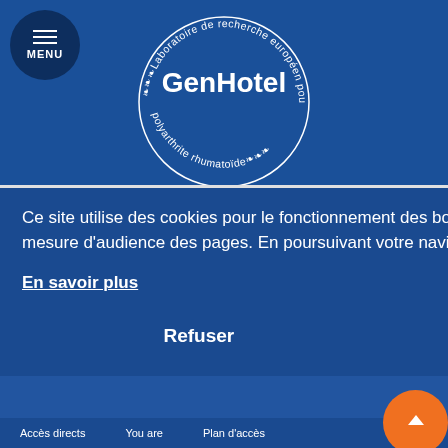[Figure (logo): GenHotel circular logo — 'Laboratoire de recherche européen pour la polyarthrite rhumatoïde' in a circle around 'GenHotel' text]
Ce site utilise des cookies pour le fonctionnement des boutons de partage sur les réseaux sociaux et la mesure d'audience des pages. En poursuivant votre navigation, vous acceptez leurs utilisations.
En savoir plus
Refuser
Accepter
Accès directs   You are   Plan d'accès